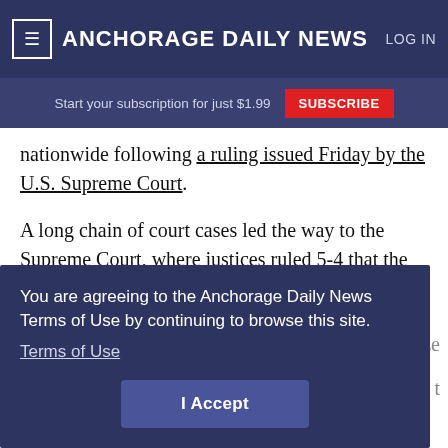≡  ANCHORAGE DAILY NEWS  LOG IN
Start your subscription for just $1.99  SUBSCRIBE
nationwide following a ruling issued Friday by the U.S. Supreme Court.
A long chain of court cases led the way to the Supreme Court, where justices ruled 5-4 that the 14th Amendment of the Constitution requires that
You are agreeing to the Anchorage Daily News Terms of Use by continuing to browse this site. Terms of Use
I Accept